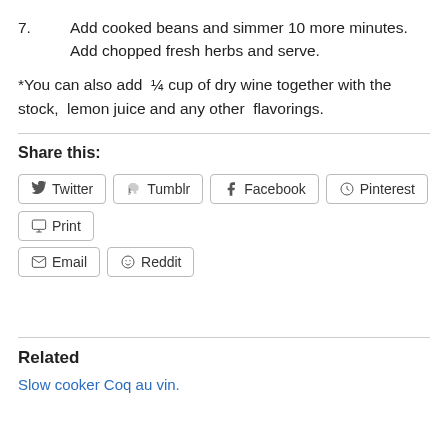7.   Add cooked beans and simmer 10 more minutes. Add chopped fresh herbs and serve.
*You can also add ¼ cup of dry wine together with the stock, lemon juice and any other flavorings.
Share this:
Twitter  Tumblr  Facebook  Pinterest  Print  Email  Reddit
Related
Slow cooker Coq au vin.